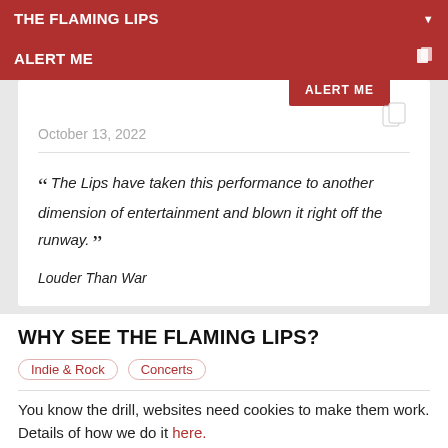THE FLAMING LIPS
ALERT ME
ALERT ME
October 13, 2022
“The Lips have taken this performance to another dimension of entertainment and blown it right off the runway.”
Louder Than War
WHY SEE THE FLAMING LIPS?
Indie & Rock
Concerts
You know the drill, websites need cookies to make them work. Details of how we do it here.
Got it!